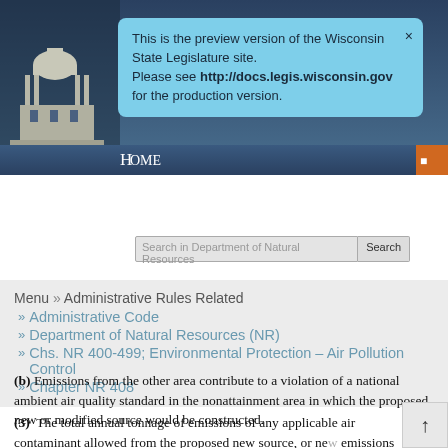[Figure (screenshot): Wisconsin State Legislature website header with capitol building image and navigation]
This is the preview version of the Wisconsin State Legislature site. Please see http://docs.legis.wisconsin.gov for the production version.
Home
Menu » Administrative Rules Related » Administrative Code » Department of Natural Resources (NR) » Chs. NR 400-499; Environmental Protection – Air Pollution Control » Chapter NR 408
(b) Emissions from the other area contribute to a violation of a national ambient air quality standard in the nonattainment area in which the proposed new or modified source would be constructed.
(3) The total annual tonnage of emissions of any applicable air contaminant allowed from the proposed new source, or new emissions increase from the modification, shall be offset by an